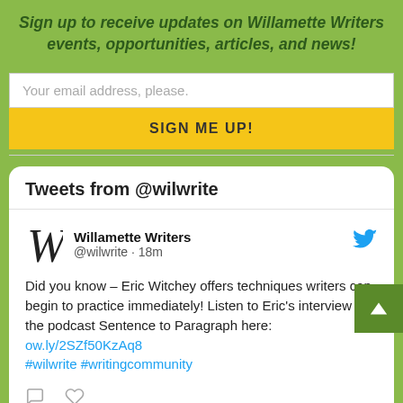Sign up to receive updates on Willamette Writers events, opportunities, articles, and news!
Your email address, please.
SIGN ME UP!
[Figure (screenshot): Twitter/X embedded widget showing tweets from @wilwrite. Contains a tweet from Willamette Writers (@wilwrite · 18m) that reads: Did you know – Eric Witchey offers techniques writers can begin to practice immediately! Listen to Eric's interview on the podcast Sentence to Paragraph here: ow.ly/2SZf50KzAq8 #wilwrite #writingcommunity]
Tweets from @wilwrite
Willamette Writers @wilwrite · 18m Did you know – Eric Witchey offers techniques writers can begin to practice immediately! Listen to Eric's interview on the podcast Sentence to Paragraph here: ow.ly/2SZf50KzAq8 #wilwrite #writingcommunity